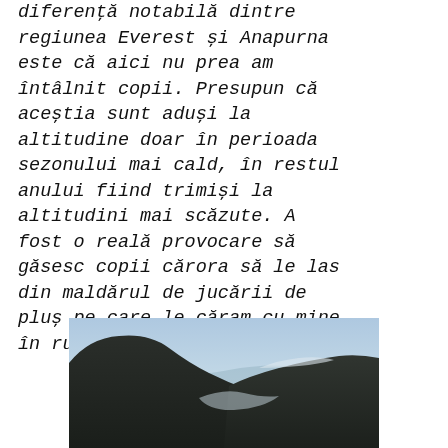diferență notabilă dintre regiunea Everest și Anapurna este că aici nu prea am întâlnit copii. Presupun că aceștia sunt aduși la altitudine doar în perioada sezonului mai cald, în restul anului fiind trimiși la altitudini mai scăzute. A fost o reală provocare să găsesc copii cărora să le las din maldărul de jucării de pluș pe care le căram cu mine în rucsac.
[Figure (photo): Mountain landscape photo showing dark silhouetted hills/mountains against a light blue sky, with a valley visible between the ridges.]